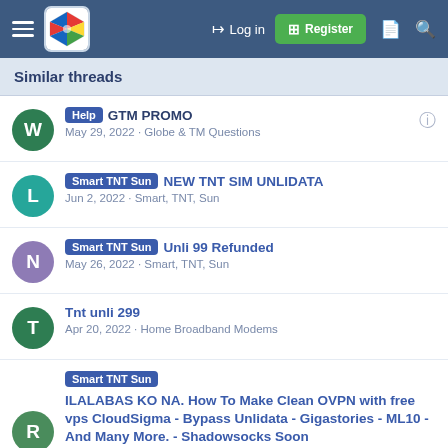Navigation bar with hamburger menu, logo, Log in, Register, and search icons
Similar threads
Help | GTM PROMO | May 29, 2022 · Globe & TM Questions
Smart TNT Sun | NEW TNT SIM UNLIDATA | Jun 2, 2022 · Smart, TNT, Sun
Smart TNT Sun | Unli 99 Refunded | May 26, 2022 · Smart, TNT, Sun
Tnt unli 299 | Apr 20, 2022 · Home Broadband Modems
Smart TNT Sun | ILALABAS KO NA. How To Make Clean OVPN with free vps CloudSigma - Bypass Unlidata - Gigastories - ML10 - And Many More. - Shadowsocks Soon | May 30, 2022 · Smart, TNT, Sun